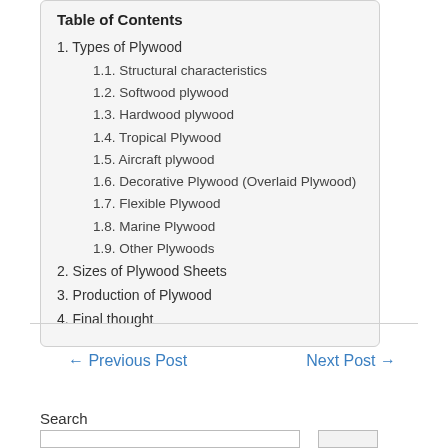Table of Contents
1. Types of Plywood
1.1. Structural characteristics
1.2. Softwood plywood
1.3. Hardwood plywood
1.4. Tropical Plywood
1.5. Aircraft plywood
1.6. Decorative Plywood (Overlaid Plywood)
1.7. Flexible Plywood
1.8. Marine Plywood
1.9. Other Plywoods
2. Sizes of Plywood Sheets
3. Production of Plywood
4. Final thought
← Previous Post
Next Post →
Search